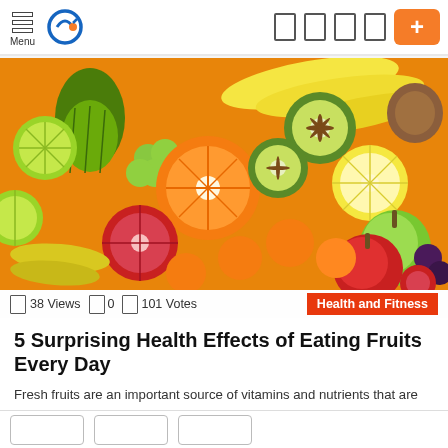Menu [navigation bar with logo and icons]
[Figure (photo): Colorful assortment of fresh fruits including oranges, kiwis, bananas, limes, grapes, apples, blood oranges, coconut, and other tropical fruits arranged together.]
38 Views  0  101 Votes  Health and Fitness
5 Surprising Health Effects of Eating Fruits Every Day
Fresh fruits are an important source of vitamins and nutrients that are necessary for good overall health. You need to consume between 1 1/2 and 2 cups of fruit per [...] MORE